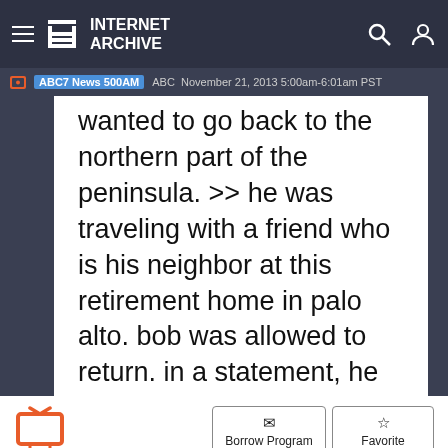INTERNET ARCHIVE
ABC7 News 500AM  ABC  November 21, 2013 5:00am-6:01am PST
wanted to go back to the northern part of the peninsula. >> he was traveling with a friend who is his neighbor at this retirement home in palo alto. bob was allowed to return. in a statement, he
Borrow Program
Favorite
ABC7 News 5:00AM
ABC  November 21, 2013  5:00am-6:01am PST